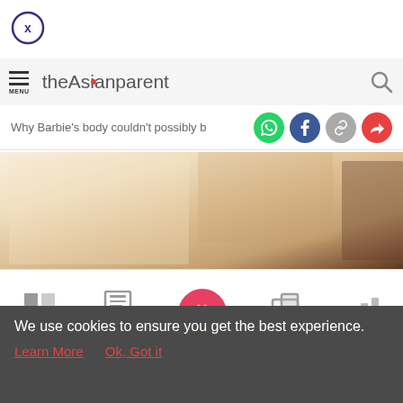[Figure (screenshot): Close button - circle with X]
MENU theAsianparent [search icon]
Why Barbie's body couldn't possibly b
[Figure (photo): Blurred close-up photo - skin tones, light beige and brown]
[Figure (infographic): Bottom navigation bar with Tools, Articles, home (footprint icon), Feed, Poll]
We use cookies to ensure you get the best experience.
Learn More   Ok, Got it